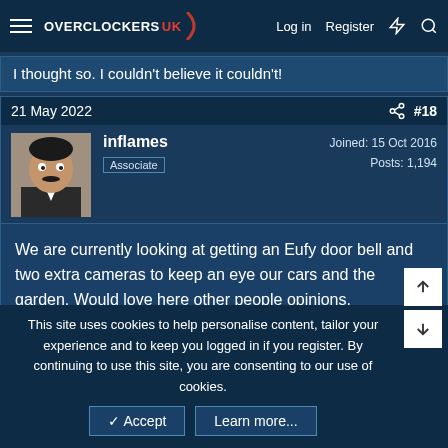Overclockers UK — Log in  Register
I thought so. I couldn't believe it couldn't!
21 May 2022  #18
inflames
Associate
Joined: 15 Oct 2016
Posts: 1,194
We are currently looking at getting an Eufy door bell and two extra cameras to keep an eye our cars and the garden. Would love here other people opinions.
21 May 2022  #19
This site uses cookies to help personalise content, tailor your experience and to keep you logged in if you register.
By continuing to use this site, you are consenting to our use of cookies.